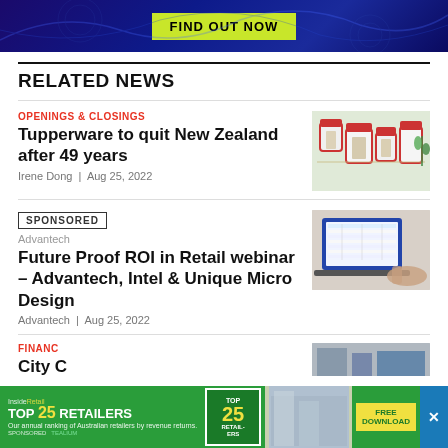[Figure (screenshot): Advertisement banner with dark blue background and 'FIND OUT NOW' yellow button]
RELATED NEWS
OPENINGS & CLOSINGS
Tupperware to quit New Zealand after 49 years
Irene Dong | Aug 25, 2022
[Figure (photo): Photo of Tupperware containers with red lids]
SPONSORED
Advantech
Future Proof ROI in Retail webinar – Advantech, Intel & Unique Micro Design
Advantech | Aug 25, 2022
[Figure (photo): Photo of person using laptop]
FINANC...
City C...
[Figure (screenshot): Advertisement overlay: InsideRetail TOP 25 RETAILERS - Our annual ranking of Australian retailers by revenue returns. SPONSORED TEALIUM. FREE DOWNLOAD]